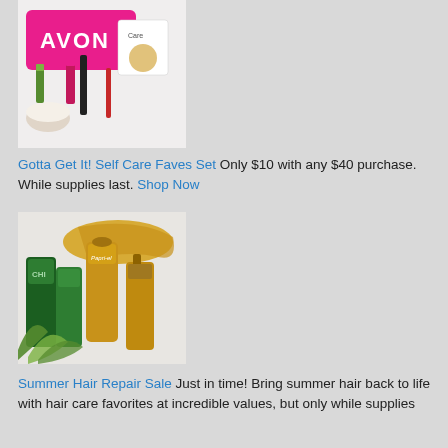[Figure (photo): Avon self care faves set product photo showing pink Avon bag, lipstick, mascara, lip balm, Care moisturizing bar, and other beauty products arranged on a light background]
Gotta Get It! Self Care Faves Set Only $10 with any $40 purchase. While supplies last. Shop Now
[Figure (photo): Summer hair repair sale product photo showing CHI green shampoo bottles, gold Papri-of hair oil, and a spray bottle arranged with aloe leaves and golden drizzle background]
Summer Hair Repair Sale Just in time! Bring summer hair back to life with hair care favorites at incredible values, but only while supplies